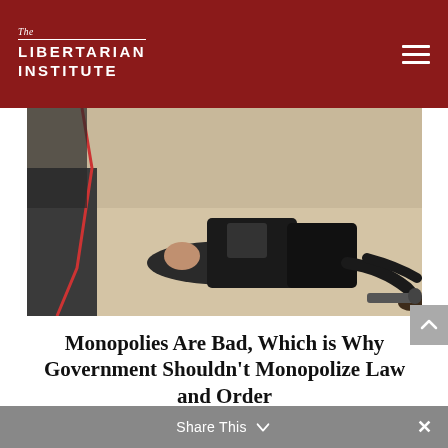The Libertarian Institute
[Figure (photo): Police officers pinning a person face-down on the ground]
Monopolies Are Bad, Which is Why Government Shouldn't Monopolize Law and Order
by Bruce Benson | Aug 26, 2022
READ MORE
Share This